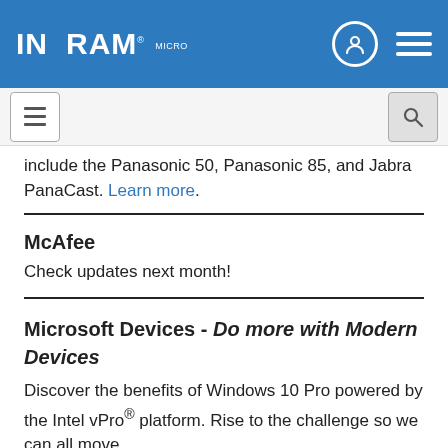Ingram Micro
include the Panasonic 50, Panasonic 85, and Jabra PanaCast. Learn more.
McAfee
Check updates next month!
Microsoft Devices - Do more with Modern Devices
Discover the benefits of Windows 10 Pro powered by the Intel vPro® platform. Rise to the challenge so we can all move